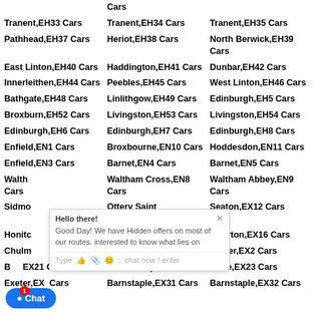Cars (partial top)
Tranent,EH33 Cars
Tranent,EH34 Cars
Tranent,EH35 Cars
Pathhead,EH37 Cars
Heriot,EH38 Cars
North Berwick,EH39 Cars
East Linton,EH40 Cars
Haddington,EH41 Cars
Dunbar,EH42 Cars
Innerleithen,EH44 Cars
Peebles,EH45 Cars
West Linton,EH46 Cars
Bathgate,EH48 Cars
Linlithgow,EH49 Cars
Edinburgh,EH5 Cars
Broxburn,EH52 Cars
Livingston,EH53 Cars
Livingston,EH54 Cars
Edinburgh,EH6 Cars
Edinburgh,EH7 Cars
Edinburgh,EH8 Cars
Enfield,EN1 Cars
Broxbourne,EN10 Cars
Hoddesdon,EN11 Cars
Enfield,EN3 Cars
Barnet,EN4 Cars
Barnet,EN5 Cars
Waltham Cross,EN8 Cars (partial)
Waltham Abbey,EN9 Cars
Ottery Saint Mary,EX11 Cars
Seaton,EX12 Cars
Cullompton,EX15 Cars
Tiverton,EX16 Cars
Winkleigh,EX19 Cars
Exeter,EX2 Cars
EX21 Cars (partial)
Holsworthy,EX22 Cars
Bude,EX23 Cars
Exeter,EX30 Cars (partial)
Barnstaple,EX31 Cars
Barnstaple,EX32 Cars